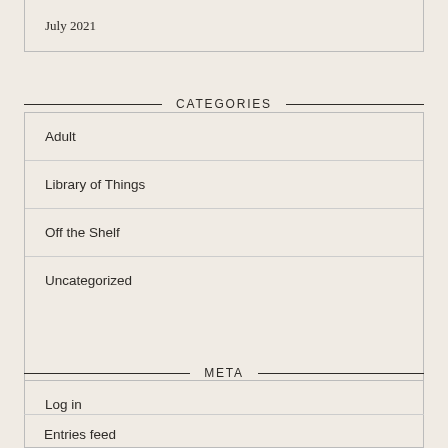July 2021
CATEGORIES
Adult
Library of Things
Off the Shelf
Uncategorized
META
Log in
Entries feed